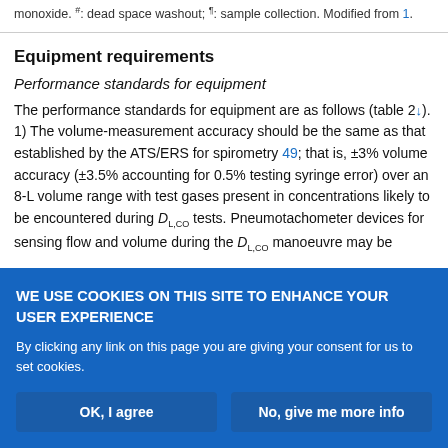monoxide. #: dead space washout; ¶: sample collection. Modified from 1.
Equipment requirements
Performance standards for equipment
The performance standards for equipment are as follows (table 2↓). 1) The volume-measurement accuracy should be the same as that established by the ATS/ERS for spirometry 49; that is, ±3% volume accuracy (±3.5% accounting for 0.5% testing syringe error) over an 8-L volume range with test gases present in concentrations likely to be encountered during D_L,CO tests. Pneumotachometer devices for sensing flow and volume during the D_L,CO manoeuvre may be
WE USE COOKIES ON THIS SITE TO ENHANCE YOUR USER EXPERIENCE
By clicking any link on this page you are giving your consent for us to set cookies.